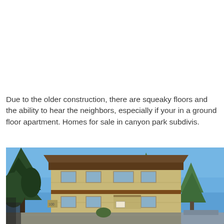Due to the older construction, there are squeaky floors and the ability to hear the neighbors, especially if your in a ground floor apartment. Homes for sale in canyon park subdivis.
[Figure (photo): Exterior photo of a two-story apartment building with tan/beige siding and dark brown trim, surrounded by large evergreen trees under a clear blue sky. Cars are partially visible in the foreground.]